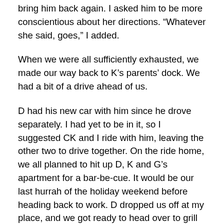bring him back again. I asked him to be more conscientious about her directions. “Whatever she said, goes,” I added.
When we were all sufficiently exhausted, we made our way back to K’s parents’ dock. We had a bit of a drive ahead of us.
D had his new car with him since he drove separately. I had yet to be in it, so I suggested CK and I ride with him, leaving the other two to drive together. On the ride home, we all planned to hit up D, K and G’s apartment for a bar-be-cue. It would be our last hurrah of the holiday weekend before heading back to work. D dropped us off at my place, and we got ready to head over to grill up some burgers. I quickly made a pasta salad as well because I didn’t want to show up empty handed.